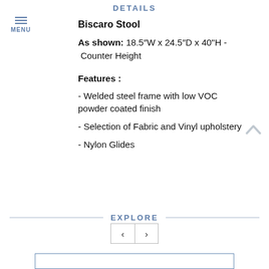DETAILS
Biscaro Stool
As shown: 18.5″W x 24.5″D x 40"H - Counter Height
Features :
- Welded steel frame with low VOC powder coated finish
- Selection of Fabric and Vinyl upholstery
- Nylon Glides
EXPLORE